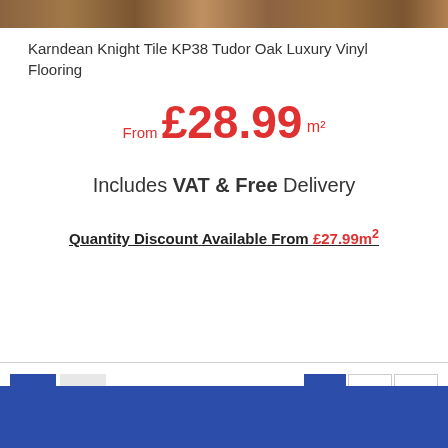[Figure (photo): Wood flooring texture strip at top]
Karndean Knight Tile KP38 Tudor Oak Luxury Vinyl Flooring
From £28.99 m²
Includes VAT & Free Delivery
Quantity Discount Available From £27.99m²
ADD TO CART
[Figure (screenshot): Grid and list view toggle icons, pagination controls (1, 2, next), and scroll-to-top button]
[Figure (other): Blue footer bar at bottom]